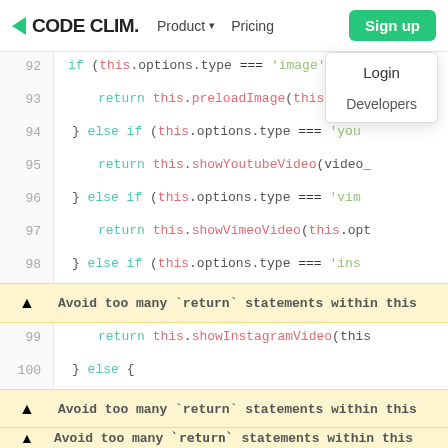CODE CLIM. | Product | Pricing | Sign up | Login | Developers
[Figure (screenshot): Code Climate web app screenshot showing JavaScript code viewer with line numbers 92-103 and two yellow warning banners reading 'Avoid too many return statements within this', plus a partially visible third warning at the bottom. A navigation dropdown showing 'Login' and 'Developers' is overlaid on the top-right.]
92    if (this.options.type === 'image') {
93        return this.preloadImage(this.optio
94    } else if (this.options.type === 'you
95        return this.showYoutubeVideo(video_
96    } else if (this.options.type === 'vim
97        return this.showVimeoVideo(this.opt
98    } else if (this.options.type === 'ins
⚠ Avoid too many `return` statements within this
99        return this.showInstagramVideo(this
100   } else {
⚠ Avoid too many `return` statements within this
101       return this.error("Could not detect
102   }
103   } else {